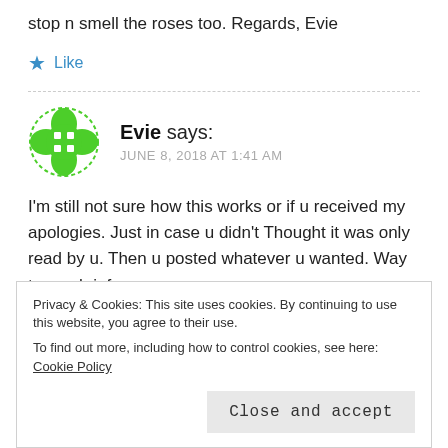stop n smell the roses too. Regards, Evie
Like
Evie says:
JUNE 8, 2018 AT 1:41 AM
I'm still not sure how this works or if u received my apologies. Just in case u didn't Thought it was only read by u. Then u posted whatever u wanted. Way to much info, so
Privacy & Cookies: This site uses cookies. By continuing to use this website, you agree to their use.
To find out more, including how to control cookies, see here: Cookie Policy
Close and accept